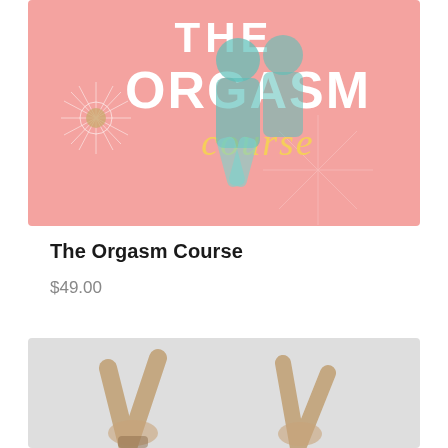[Figure (photo): Product image showing a pink background with two jumping people and bold white text reading 'THE ORGASM course' in white and yellow lettering with a sunburst decoration]
The Orgasm Course
$49.00
[Figure (photo): Second product image showing a light grey background with two people (a man and a woman) raising their hands and looking up with excited expressions]